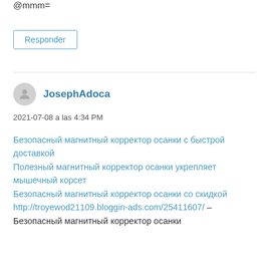@mmm=
Responder
JosephAdoca
2021-07-08 a las 4:34 PM
Безопасный магнитный корректор осанки с быстрой доставкой
Полезный магнитный корректор осанки укрепляет мышечный корсет
Безопасный магнитный корректор осанки со скидкой
http://troyewod21109.bloggin-ads.com/25411607/ – Безопасный магнитный корректор осанки